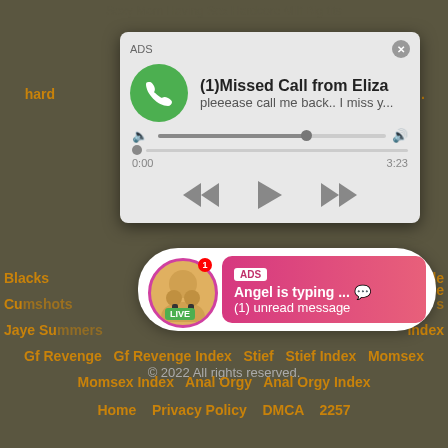Sexy Mom Having Sex Hardcore Milf Big tits
[Figure (screenshot): Fake phone call ad popup with green phone icon, title '(1)Missed Call from Eliza', subtitle 'pleeease call me back.. I miss y...', audio player controls with progress bar and playback buttons]
Blacks   Cumshots   Jaye Summers   Gf Revenge   Gf Revenge Index   Stief   Stief Index   Momsex   Momsex Index   Anal Orgy   Anal Orgy Index   minside   index
[Figure (screenshot): Fake live chat notification ad with avatar showing LIVE badge, pink gradient bubble saying 'ADS Angel is typing ... (1) unread message']
© 2022 All rights reserved.
Home   Privacy Policy   DMCA   2257